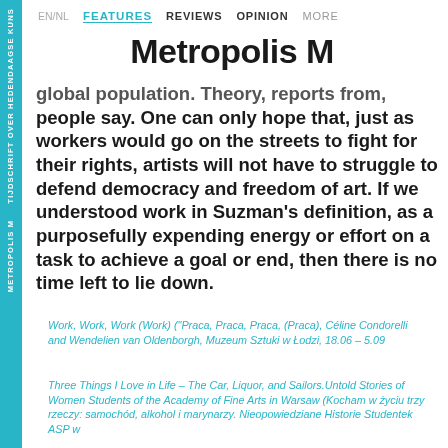EN/NL  FEATURES  REVIEWS  OPINION  MORE
Metropolis M
global population. Theory, reports from, people say. One can only hope that, just as workers would go on the streets to fight for their rights, artists will not have to struggle to defend democracy and freedom of art. If we understood work in Suzman's definition, as a purposefully expending energy or effort on a task to achieve a goal or end, then there is no time left to lie down.
Work, Work, Work (Work) ("Praca, Praca, Praca, (Praca), Céline Condorelli and Wendelien van Oldenborgh, Muzeum Sztuki w Łodzi, 18.06 – 5.09
Three Things I Love in Life – The Car, Liquor, and Sailors.Untold Stories of Women Students of the Academy of Fine Arts in Warsaw (Kocham w życiu trzy rzeczy: samochód, alkohol i marynarzy. Nieopowiedziane Historie Studentek ASP w